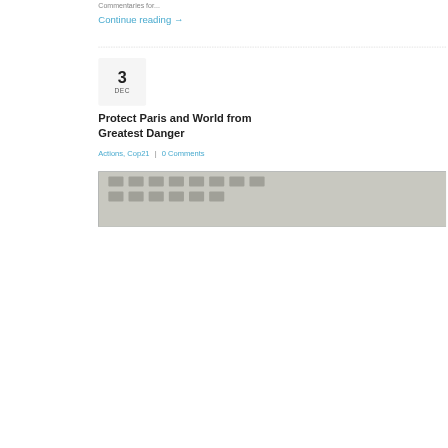Commentaries for...
Continue reading →
3 DEC
Protect Paris and World from Greatest Danger
Actions, Cop21  |  0 Comments
[Figure (photo): Protesters holding a large banner reading 'PARIS EN MARCHE' with shoes laid out on the ground in front of them, in a public square in Paris, during COP21 climate conference.]